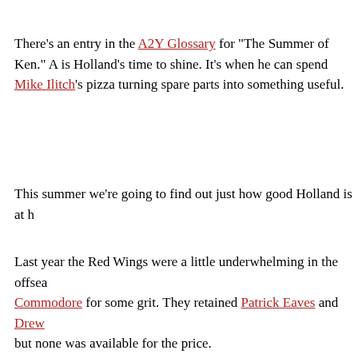There's an entry in the A2Y Glossary for "The Summer of Ken." A is Holland's time to shine. It's when he can spend Mike Ilitch's pizz turning spare parts into something useful.
This summer we're going to find out just how good Holland is at hi
Last year the Red Wings were a little underwhelming in the offsea Commodore for some grit. They retained Patrick Eaves and Drew but none was available for the price.
That was okay. The Wings had plenty of cap space, still, and woul would be available as a rental.
Detroit's lone deadline acquisition: defenseman Kyle Quincey. Eve the stretch, I'm not against this move. Quincey is not a rental (he' traded for him will be after all the blue-chip prospects are off the b
Quincey didn't fix the Wings' scoring issues, though.
By the time the trade deadline had passed, Detroit's forward corps hadn't been able to make a move, so we know he tried, but that d